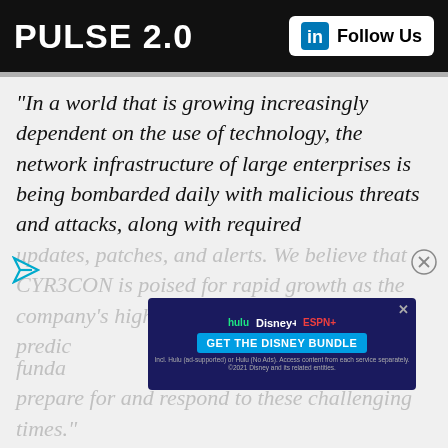PULSE 2.0   Follow Us
“In a world that is growing increasingly dependent on the use of technology, the network infrastructure of large enterprises is being bombarded daily with malicious threats and attacks, along with required updates, patches, and alerts. We believe that CYR3CON is poised for rapid growth as the company’s highly differentiated, AI-based predictive intelligence platform fundamentally changes how enterprises prepare for and respond to these challenging times.”
[Figure (infographic): Disney Bundle advertisement banner showing Hulu, Disney+, ESPN+ logos with 'GET THE DISNEY BUNDLE' call to action button]